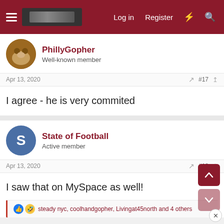Log in  Register
PhillyGopher
Well-known member
Apr 13, 2020  #17
I agree - he is very commited
State of Football
Active member
Apr 13, 2020  #18
I saw that on MySpace as well!
steady nyc, coolhandgopher, Livingat45north and 4 others